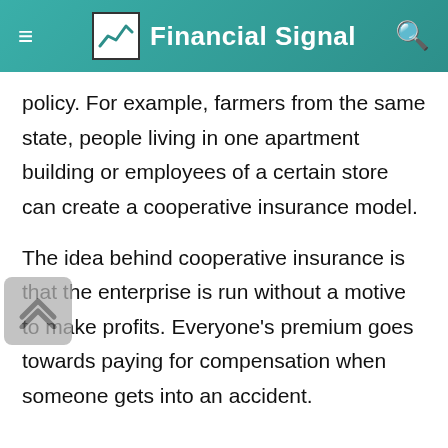Financial Signal
policy. For example, farmers from the same state, people living in one apartment building or employees of a certain store can create a cooperative insurance model.
The idea behind cooperative insurance is that the enterprise is run without a motive to make profits. Everyone's premium goes towards paying for compensation when someone gets into an accident.